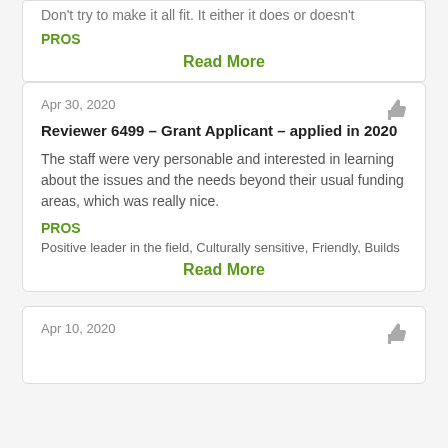Don't try to make it all fit. It either it does or doesn't
PROS
Read More
Apr 30, 2020
Reviewer 6499 – Grant Applicant – applied in 2020
The staff were very personable and interested in learning about the issues and the needs beyond their usual funding areas, which was really nice.
PROS
Positive leader in the field, Culturally sensitive, Friendly, Builds
Read More
Apr 10, 2020